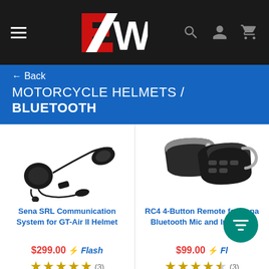2W - Motorcycle Helmets / Bluetooth - E-commerce header with navigation icons
← Back
MOTORCYCLE HELMETS / BLUETOOTH
[Figure (photo): Product image of Sena SRL Communication System headset/mic hardware on white background]
[Figure (photo): Product image of RC4 4-Button Remote device on white background]
Sena SRL Communication System for GT-Air II Helmet
RC4 4-Button Remote for Sena Bluetooth Mic and Intercom
$299.00 ⚡Flash
$99.00 ⚡Fl...
★★★★★ (3)
★★★★½ (3)